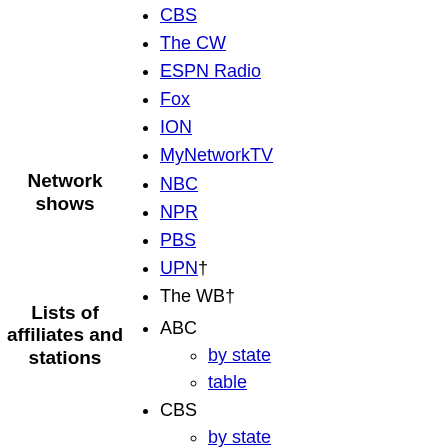Network shows
CBS
The CW
ESPN Radio
Fox
ION
MyNetworkTV
NBC
NPR
PBS
UPN†
The WB†
Lists of affiliates and stations
ABC
by state
table
CBS
by state
table
The CW
ESPN Radio
Fox
by state
table
ION
affiliates